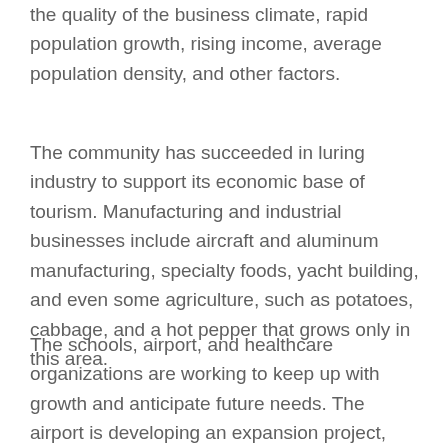the quality of the business climate, rapid population growth, rising income, average population density, and other factors.
The community has succeeded in luring industry to support its economic base of tourism. Manufacturing and industrial businesses include aircraft and aluminum manufacturing, specialty foods, yacht building, and even some agriculture, such as potatoes, cabbage, and a hot pepper that grows only in this area.
The schools, airport, and healthcare organizations are working to keep up with growth and anticipate future needs. The airport is developing an expansion project, possibly including an industrial park. New